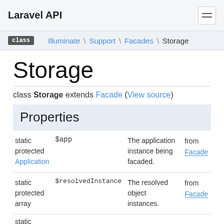Laravel API
class \ Illuminate \ Support \ Facades \ Storage
Storage
class Storage extends Facade (View source)
Properties
|  |  |  |  |
| --- | --- | --- | --- |
| static protected Application | $app | The application instance being facaded. | from Facade |
| static protected array | $resolvedInstance | The resolved object instances. | from Facade |
| static | $resolvedInstance | ... | ... |